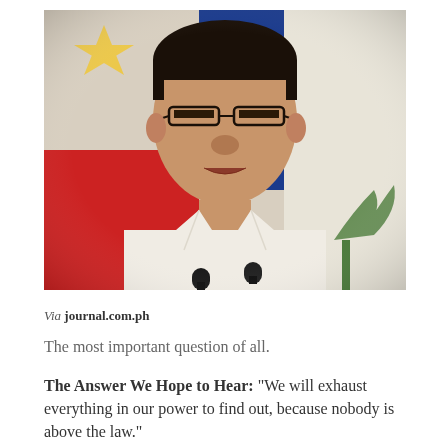[Figure (photo): A man in glasses and a white collared shirt speaking at a podium with two black microphones. Philippine flags (blue, red, white with yellow sun) visible in background. Photo sourced from journal.com.ph.]
Via journal.com.ph
The most important question of all.
The Answer We Hope to Hear: “We will exhaust everything in our power to find out, because nobody is above the law.”